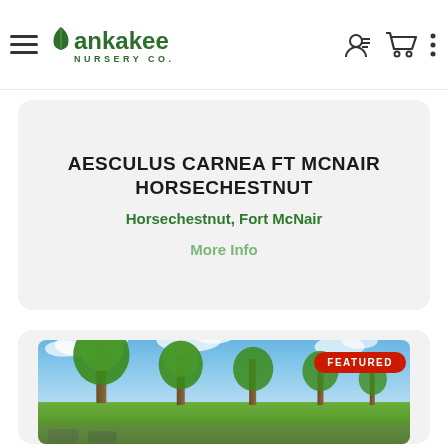Kankakee Nursery Co.
AESCULUS CARNEA FT MCNAIR HORSECHESTNUT
Horsechestnut, Fort McNair
More Info
[Figure (photo): Photograph of trees in a nursery field under a partly cloudy blue sky, with a red 'FEATURED' badge overlaid in the top-right corner of the image.]